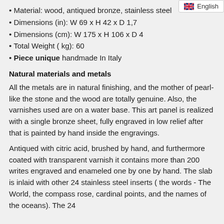[Figure (other): UK flag icon with 'English' language label in top right corner]
Material: wood, antiqued bronze, stainless steel
Dimensions (in): W 69 x H 42 x D 1,7
Dimensions (cm): W 175 x H 106 x D 4
Total Weight ( kg): 60
Piece unique handmade In Italy
Natural materials and metals
All the metals are in natural finishing, and the mother of pearl-like the stone and the wood are totally genuine. Also, the varnishes used are on a water base. This art panel is realized with a single bronze sheet, fully engraved in low relief after that is painted by hand inside the engravings.
Antiqued with citric acid, brushed by hand, and furthermore coated with transparent varnish it contains more than 200 writes engraved and enameled one by one by hand. The slab is inlaid with other 24 stainless steel inserts ( the words - The World, the compass rose, cardinal points, and the names of the oceans). The 24